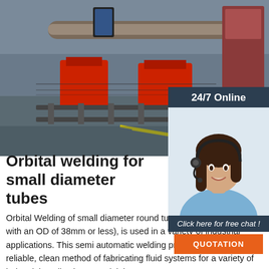[Figure (photo): Industrial orbital welding machine with red components on rail tracks inside a factory, with a large pipe being processed]
[Figure (photo): 24/7 Online chat widget showing a smiling woman with a headset, with 'Click here for free chat!' text and an orange QUOTATION button]
Orbital welding for small diameter tubes
Orbital Welding of small diameter round tubes (defined as round with an OD of 38mm or less), is used in a variety of industrial applications. This semi automatic welding process provides a reliable, clean method of fabricating fluid systems for a variety of industrial applications. For joining